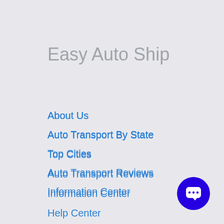Easy Auto Ship
About Us
Auto Transport By State
Top Cities
Auto Transport Reviews
Information Center
Help Center
Careers
Blog
Contact Us
[Figure (illustration): Blue circular chat/message button icon in the bottom-right corner]